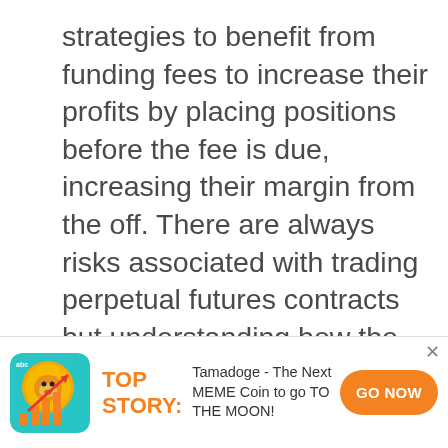strategies to benefit from funding fees to increase their profits by placing positions before the fee is due, increasing their margin from the off. There are always risks associated with trading  perpetual futures contracts but understanding how the specifices of the system works, including the funding fees, can enhance the experience and profits for a trader.
[Figure (logo): Tamadoge advertisement banner with coin logo showing a dog character with orange bar chart and upward arrow on teal/cyan background. Contains TOP STORY label in orange, descriptive text about Tamadoge MEME coin, and a GO NOW button in orange.]